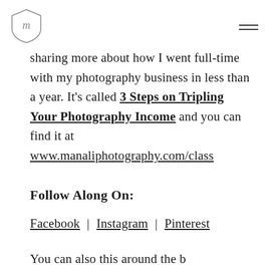[logo and navigation]
sharing more about how I went full-time with my photography business in less than a year. It's called 3 Steps on Tripling Your Photography Income and you can find it at www.manaliphotography.com/class
Follow Along On:
Facebook | Instagram | Pinterest
[partially visible text]